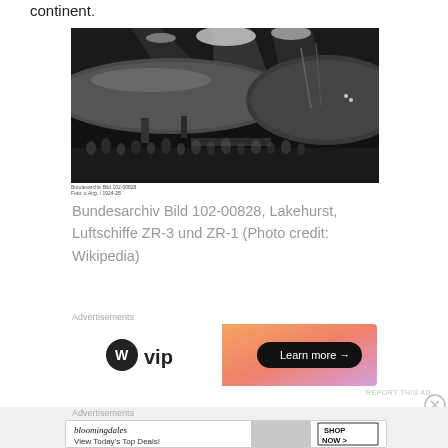continent.
[Figure (photo): Black and white historical photograph of large airships (zeppelins) inside a hangar at Lakehurst. Two massive dirigibles are visible with crowds of people below. Bright lights illuminate the interior of the hangar.]
Bundesarchiv Bild 102-00828, Lakehurst, Luftschiffe ZR-3 und ZR-1 (Photo credit: Wikipedia)
Advertisements
[Figure (other): WordPress VIP advertisement banner with gradient orange/pink background and 'Learn more →' button]
REPORT THIS AD
Advertisements
[Figure (other): Bloomingdales advertisement banner: 'bloomingdales View Today's Top Deals!' with woman in hat and 'SHOP NOW >' button]